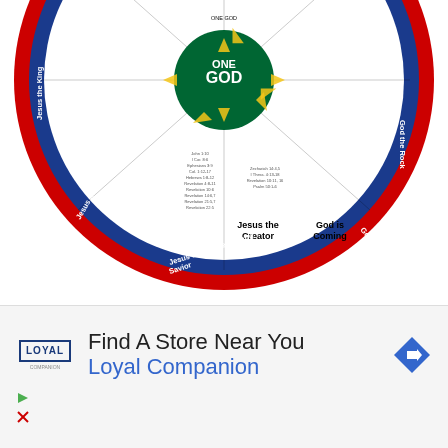[Figure (infographic): Circular wheel diagram showing 'ONE GOD' at center in green circle, with spokes radiating outward showing 'Jesus is God', 'Jesus the Creator', 'God is Coming', 'God the Rock', 'Jesus Is Man', 'God First and Last', 'God the I AM', 'Jesus the King', 'Jesus the Shepherd', 'Jesus the Redeemer and Savior'. Red outer ring with white text labels. Yellow arrows pointing inward toward center. Bible verses listed in each section.]
Jesus is God
Isaiah 7:14
Isaiah 9:6
Micah 5:2
John 1:1, 14
John 1:10
John 8:24, 58-60
John 14:6-11
II Corinthians 5:19
I Timothy 3:16
Jesus Is Man
Isaiah 7:14
Isaiah 9:6
Luke 1:31; 2:6-7
Acts 17:31
Galatians 4:4
Philippians 2:7-8
I Timothy 2:5
Hebrews 4:15
Hebrews 1:24-25
Compiled by C. P. Kilgore
Tract #0007
Word Aflame Press
Find A Store Near You
Loyal Companion